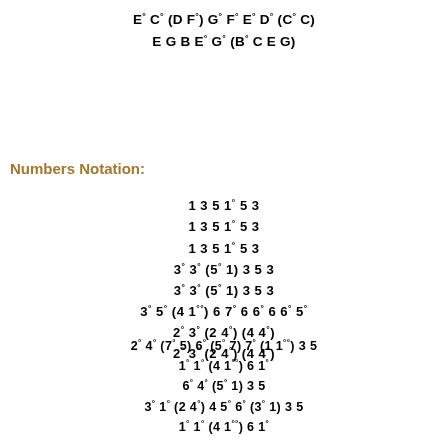E° C° (D F°) G° F° E° D° (C° C)
E G B E° G° (B° C E G)
Numbers Notation:
1 3 5 1° 5 3
1 3 5 1° 5 3
1 3 5 1° 5 3
3° 3° (5° 1) 3 5 3
3° 3° (5° 1) 3 5 3
3° 5° (4 1°°) 6 7° 6 6° 6 6° 5°
2° 3° (2 4°) (4 4°)
2° 3° (2 4°) (4 4°)

2° 4° (7° 5) 6° (5° 7) 7° (1 1°°) 3 5
1° 1° (4 1°°) 6 1°
6° 4° (5° 1) 3 5
3° 1° (2 4°) 4 5° 6° (3° 1) 3 5
1° 1° (4 1°°) 6 1°